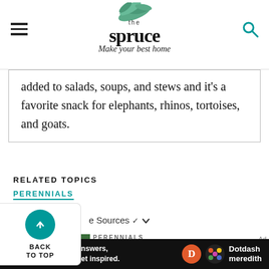the spruce — Make your best home
added to salads, soups, and stews and it's a favorite snack for elephants, rhinos, tortoises, and goats.
RELATED TOPICS
PERENNIALS
e Sources
BACK TO TOP
PERENNIALS
Dwarf Morning Glory:
We help people find answers, solve problems and get inspired. Dotdash meredith